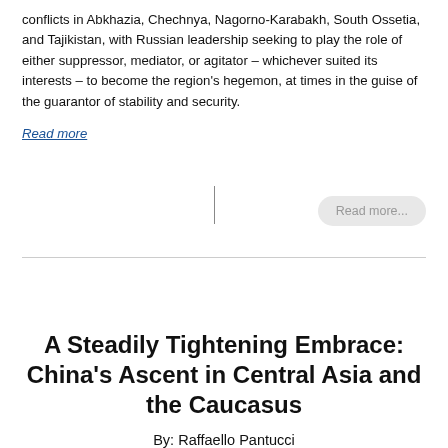conflicts in Abkhazia, Chechnya, Nagorno-Karabakh, South Ossetia, and Tajikistan, with Russian leadership seeking to play the role of either suppressor, mediator, or agitator – whichever suited its interests – to become the region's hegemon, at times in the guise of the guarantor of stability and security.
Read more
Read more...
A Steadily Tightening Embrace: China's Ascent in Central Asia and the Caucasus
By: Raffaello Pantucci